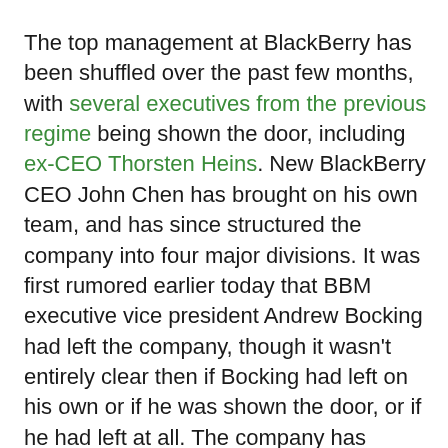The top management at BlackBerry has been shuffled over the past few months, with several executives from the previous regime being shown the door, including ex-CEO Thorsten Heins. New BlackBerry CEO John Chen has brought on his own team, and has since structured the company into four major divisions. It was first rumored earlier today that BBM executive vice president Andrew Bocking had left the company, though it wasn't entirely clear then if Bocking had left on his own or if he was shown the door, or if he had left at all. The company has confirmed that the former BBM head made the decision to leave BlackBerry.